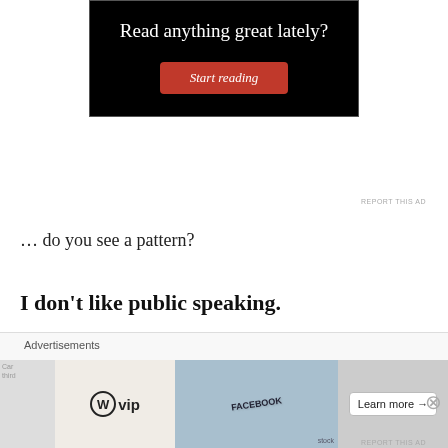[Figure (screenshot): Advertisement banner with black background. Text reads 'Read anything great lately?' with a red 'Start reading' button below.]
REPORT THIS AD
… do you see a pattern?
I don't like public speaking.
More specifically, I don't like being put on the
[Figure (screenshot): Bottom advertisement bar. Shows 'Advertisements' label, WordPress VIP logo, social media image collage, and 'Learn more →' button. Has 'REPORT THIS AD' link.]